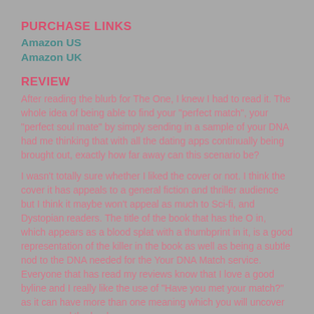PURCHASE LINKS
Amazon US
Amazon UK
REVIEW
After reading the blurb for The One, I knew I had to read it. The whole idea of being able to find your "perfect match", your "perfect soul mate" by simply sending in a sample of your DNA had me thinking that with all the dating apps continually being brought out, exactly how far away can this scenario be?
I wasn't totally sure whether I liked the cover or not. I think the cover it has appeals to a general fiction and thriller audience but I think it maybe won't appeal as much to Sci-fi, and Dystopian readers. The title of the book that has the O in, which appears as a blood splat with a thumbprint in it, is a good representation of the killer in the book as well as being a subtle nod to the DNA needed for the Your DNA Match service. Everyone that has read my reviews know that I love a good byline and I really like the use of "Have you met your match?" as it can have more than one meaning which you will uncover as you read the book.